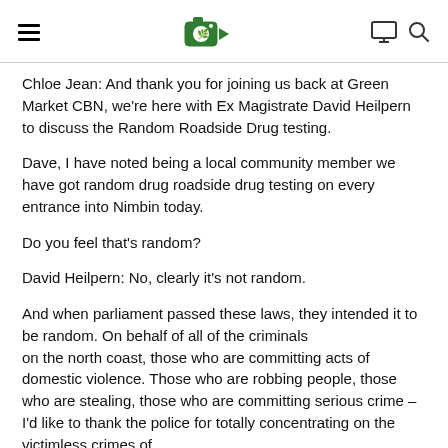[hamburger menu] [Green Market CBN logo] [monitor icon] [search icon]
Chloe Jean: And thank you for joining us back at Green Market CBN, we're here with Ex Magistrate David Heilpern to discuss the Random Roadside Drug testing.
Dave, I have noted being a local community member we have got random drug roadside drug testing on every entrance into Nimbin today.
Do you feel that's random?
David Heilpern: No, clearly it's not random.
And when parliament passed these laws, they intended it to be random. On behalf of all of the criminals on the north coast, those who are committing acts of domestic violence. Those who are robbing people, those who are stealing, those who are committing serious crime – I'd like to thank the police for totally concentrating on the victimless crimes of Nimbin...